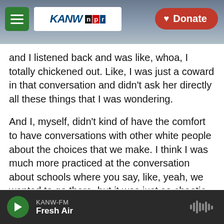[Figure (screenshot): KANW NPR radio station mobile app header with hamburger menu, KANW-NPR logo, mountain/cloudy background, and red Donate button]
and I listened back and was like, whoa, I totally chickened out. Like, I was just a coward in that conversation and didn't ask her directly all these things that I was wondering.
And I, myself, didn't kind of have the comfort to have conversations with other white people about the choices that we make. I think I was much more practiced at the conversation about schools where you say, like, yeah, we wanted to go there, but it was just so chaotic and we couldn't. And you're like, oh, OK. Yeah, get it. And you move on. You know, you just sort of accept the ways in which we
KANW-FM
Fresh Air